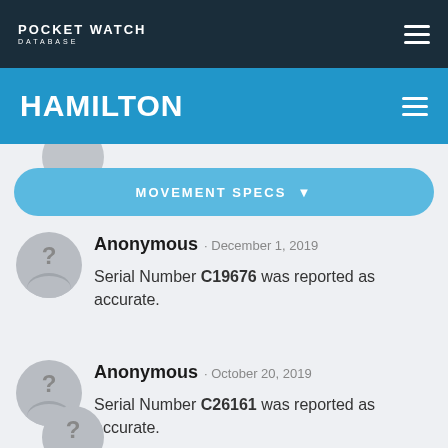POCKET WATCH DATABASE
HAMILTON
MOVEMENT SPECS
Anonymous · December 1, 2019
Serial Number C19676 was reported as accurate.
Anonymous · October 20, 2019
Serial Number C26161 was reported as accurate.